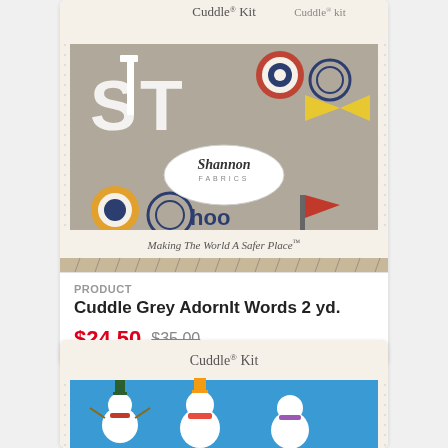[Figure (photo): Shannon Fabrics Cuddle Kit packaging showing grey fabric with colorful Adornit Words print (letters, pennants, circles in red, yellow, teal on grey background). Package labeled 'Cuddle Kit' and 'Making The World A Safer Place'.]
PRODUCT
Cuddle Grey AdornIt Words 2 yd.
$24.50  $35.00
[Figure (photo): Shannon Fabrics Cuddle Kit packaging showing blue fabric with snowman print. Package labeled 'Cuddle Kit'.]